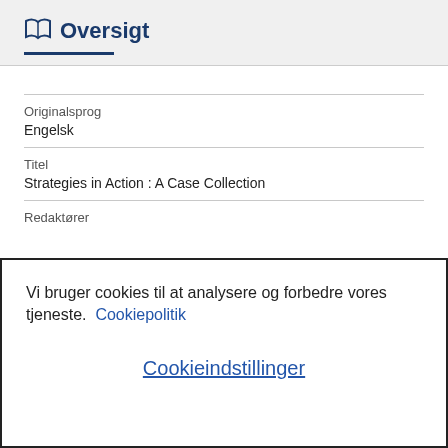Oversigt
| Originalsprog | Engelsk |
| Titel | Strategies in Action : A Case Collection |
| Redaktører |  |
Vi bruger cookies til at analysere og forbedre vores tjeneste. Cookiepolitik
Cookieindstillinger